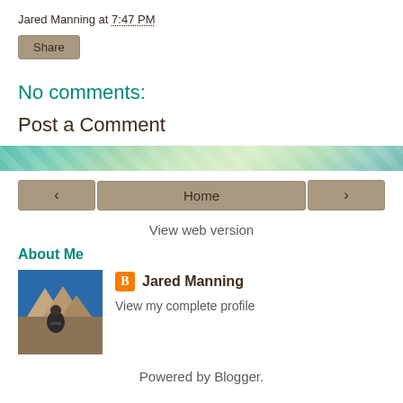Jared Manning at 7:47 PM
Share
No comments:
Post a Comment
Home
View web version
About Me
[Figure (photo): Profile photo of Jared Manning standing in front of rocky mountain terrain]
Jared Manning
View my complete profile
Powered by Blogger.